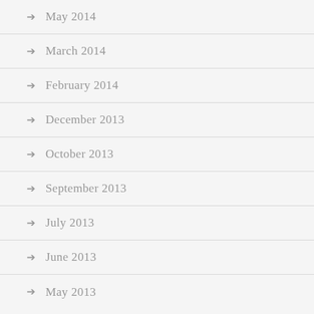May 2014
March 2014
February 2014
December 2013
October 2013
September 2013
July 2013
June 2013
May 2013